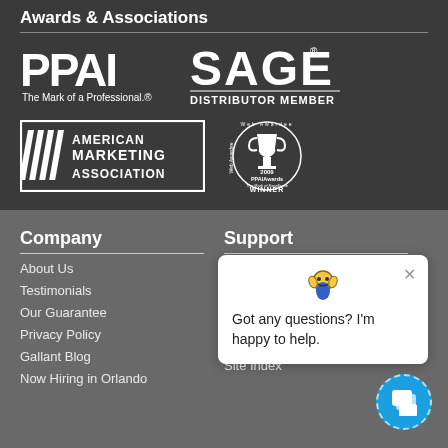Awards & Associations
[Figure (logo): PPAI logo - The Mark of a Professional]
[Figure (logo): SAGE Distributor Member logo]
[Figure (logo): American Marketing Association logo]
[Figure (logo): 2009 PPAI Awards The Mark of Excellence Winner badge]
Company
About Us
Testimonials
Our Guarantee
Privacy Policy
Gallant Blog
Now Hiring in Orlando
Support
Contact Us
Gift Drawing
Site Index
Got any questions? I'm happy to help.